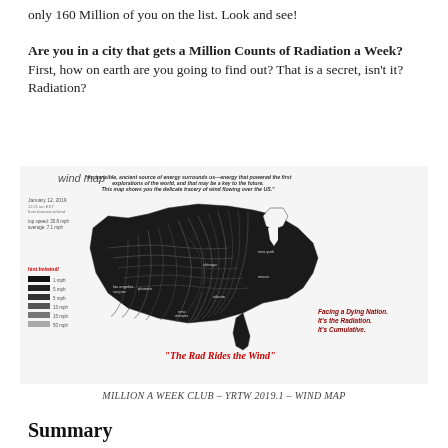only 160 Million of you on the list. Look and see!
Are you in a city that gets a Million Counts of Radiation a Week? First, how on earth are you going to find out? That is a secret, isn't it? Radiation?
[Figure (map): Wind map of the United States dated January 12, 2019. Shows wind flow patterns over the US as dark swirling lines. Contains legend with speed categories from hint.fm/wind. Quote: 'An invisible, ancient source of energy surrounds us—energy that powered the first explorations of the world, and that may be a key to the future. This map shows you the delicate tracery of wind flowing over the US.' Red text: 'Facing a Dying Nation. It's the Radiation. It's Cumulative.' Red italic: '"The Rad Rides the Wind"']
MILLION A WEEK CLUB – YRTW 2019.1 – WIND MAP
Summary